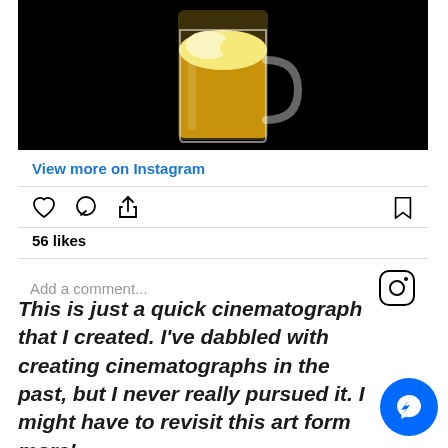[Figure (photo): Instagram embed card showing a beer mug photo (golden beer in clear glass mug on black background), 'View more on Instagram' link, action icons (heart, comment, share, bookmark), 56 likes count, and comment input field with Instagram logo]
This is just a quick cinematograph that I created. I've dabbled with creating cinematographs in the past, but I never really pursued it. I might have to revisit this art form more!